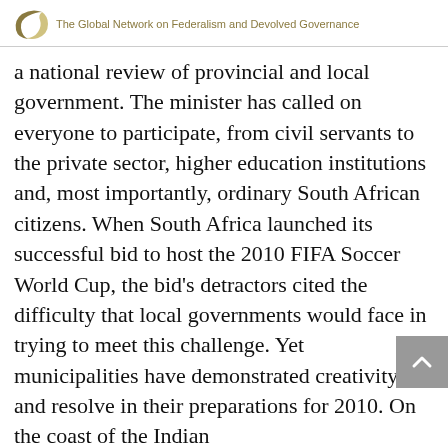The Global Network on Federalism and Devolved Governance
a national review of provincial and local government. The minister has called on everyone to participate, from civil servants to the private sector, higher education institutions and, most importantly, ordinary South African citizens. When South Africa launched its successful bid to host the 2010 FIFA Soccer World Cup, the bid's detractors cited the difficulty that local governments would face in trying to meet this challenge. Yet municipalities have demonstrated creativity and resolve in their preparations for 2010. On the coast of the Indian